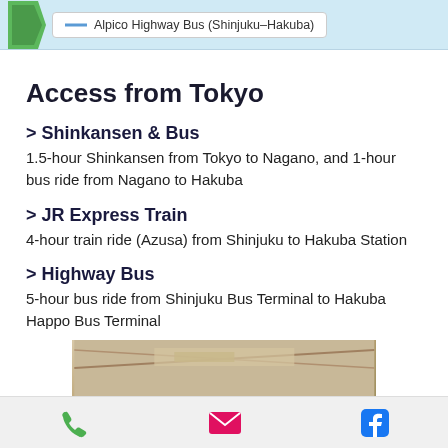[Figure (infographic): Top banner with light blue background showing a map legend entry for Alpico Highway Bus (Shinjuku-Hakuba) with a blue line indicator]
Access from Tokyo
> Shinkansen & Bus
1.5-hour Shinkansen from Tokyo to Nagano, and 1-hour bus ride from Nagano to Hakuba
> JR Express Train
4-hour train ride (Azusa) from Shinjuku to Hakuba Station
> Highway Bus
5-hour bus ride from Shinjuku Bus Terminal to Hakuba Happo Bus Terminal
[Figure (photo): Partial photo of an interior ceiling/structure at the bottom of the page]
Phone | Email | Facebook icons